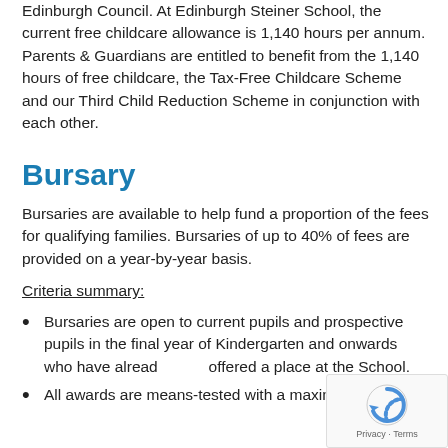Edinburgh Council. At Edinburgh Steiner School, the current free childcare allowance is 1,140 hours per annum. Parents & Guardians are entitled to benefit from the 1,140 hours of free childcare, the Tax-Free Childcare Scheme and our Third Child Reduction Scheme in conjunction with each other.
Bursary
Bursaries are available to help fund a proportion of the fees for qualifying families. Bursaries of up to 40% of fees are provided on a year-by-year basis.
Criteria summary:
Bursaries are open to current pupils and prospective pupils in the final year of Kindergarten and onwards who have already been offered a place at the School.
All awards are means-tested with a maximum